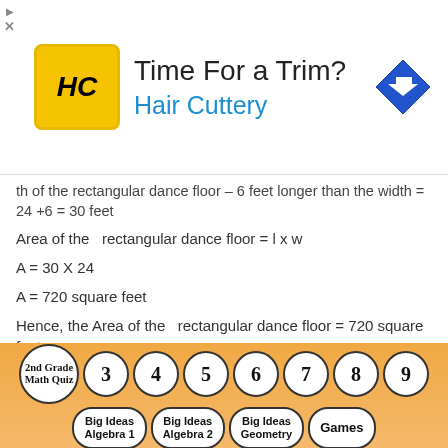[Figure (screenshot): Hair Cuttery advertisement banner with logo, 'Time For a Trim?' text, and navigation arrow icon]
th of the rectangular dance floor – 6 feet longer than the width = 24 +6 = 30 feet
Area of the  rectangular dance floor = l x w
A = 30 X 24
A = 720 square feet
Hence, the Area of the  rectangular dance floor = 720 square feet.
Show and Grow
Question 12
[Figure (screenshot): Footer navigation bar with grade level circles: 2nd Grade Math Quiz, 3, 4, 5, 6, 7, 8, 9 and subject pills: Big Ideas Algebra 1, Big Ideas Algebra 2, Big Ideas Geometry, Games]